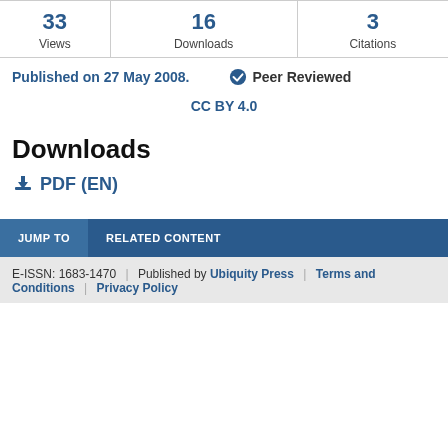| Views | Downloads | Citations |
| --- | --- | --- |
| 33 | 16 | 3 |
Published on 27 May 2008.   ✔ Peer Reviewed
CC BY 4.0
Downloads
⬇ PDF (EN)
JUMP TO   RELATED CONTENT
E-ISSN: 1683-1470 | Published by Ubiquity Press | Terms and Conditions | Privacy Policy